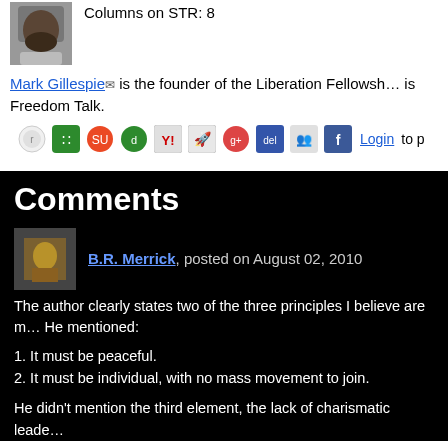Columns on STR: 8
Mark Gillespie is the founder of the Liberation Fellowship... is Freedom Talk.
[Figure (infographic): Row of social sharing icons: Reddit, Stumbleupon, Digg, Delicious, Yahoo, Fark, Google, Del.icio.us, Netscape, Facebook, then Login to p...]
Comments
B.R. Merrick, posted on August 02, 2010
The author clearly states two of the three principles I believe are m... He mentioned:
1. It must be peaceful.
2. It must be individual, with no mass movement to join.
He didn't mention the third element, the lack of charismatic leade...